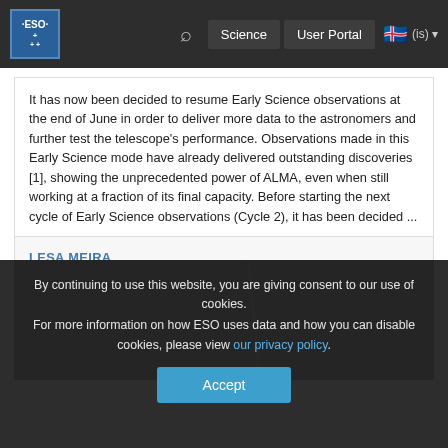ESO Science User Portal (is)
It has now been decided to resume Early Science observations at the end of June in order to deliver more data to the astronomers and further test the telescope's performance. Observations made in this Early Science mode have already delivered outstanding discoveries [1], showing the unprecedented power of ALMA, even when still working at a fraction of its final capacity. Before starting the next cycle of Early Science observations (Cycle 2), it has been decided ...
LESA MEIRA
[Figure (photo): Night sky photograph showing stars and a red laser guide star streak]
By continuing to use this website, you are giving consent to our use of cookies.
For more information on how ESO uses data and how you can disable cookies, please view our privacy policy.
Accept